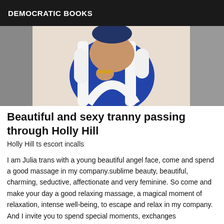DEMOCRATIC BOOKS
[Figure (photo): Photo of a person wearing a blue and white fitted dress, showing torso and hand with bracelet]
Beautiful and sexy tranny passing through Holly Hill
Holly Hill ts escort incalls
I am Julia trans with a young beautiful angel face, come and spend a good massage in my company.sublime beauty, beautiful, charming, seductive, affectionate and very feminine. So come and make your day a good relaxing massage, a magical moment of relaxation, intense well-being, to escape and relax in my company. And I invite you to spend special moments, exchanges